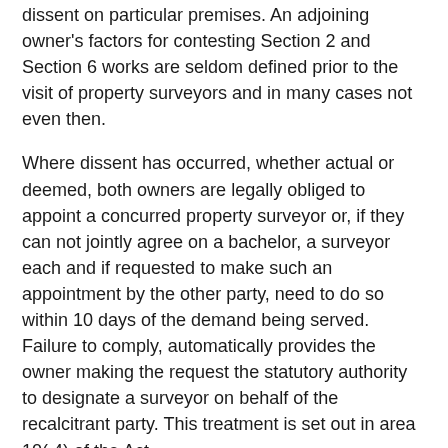dissent on particular premises. An adjoining owner's factors for contesting Section 2 and Section 6 works are seldom defined prior to the visit of property surveyors and in many cases not even then.
Where dissent has occurred, whether actual or deemed, both owners are legally obliged to appoint a concurred property surveyor or, if they can not jointly agree on a bachelor, a surveyor each and if requested to make such an appointment by the other party, need to do so within 10 days of the demand being served. Failure to comply, automatically provides the owner making the request the statutory authority to designate a surveyor on behalf of the recalcitrant party. This treatment is set out in area 10( 4) of the Act.
Where two surveyors are selected, they are obliged to agree upon the choice, in composing, of a 3rd property surveyor who might be hired by either of the property surveyors or either of the parties to figure out the disputed matters and